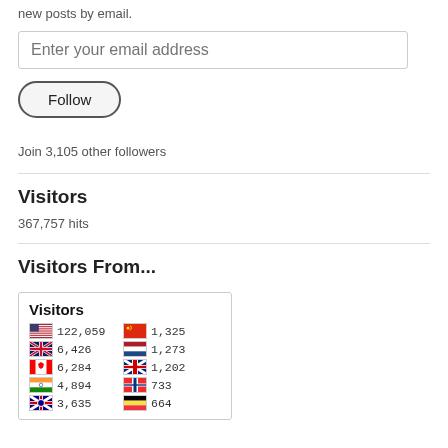new posts by email.
[Figure (other): Email input field with placeholder text 'Enter your email address']
[Figure (other): Follow button with rounded border]
Join 3,105 other followers
Visitors
367,757 hits
Visitors From...
[Figure (table-as-image): Visitors widget showing country flags and visitor counts: US 122,059 | China 1,325 | UK 6,426 | Netherlands 1,273 | Canada 6,284 | New Zealand 1,202 | India 4,894 | Norway 733 | Australia 3,635 | Belgium 664]